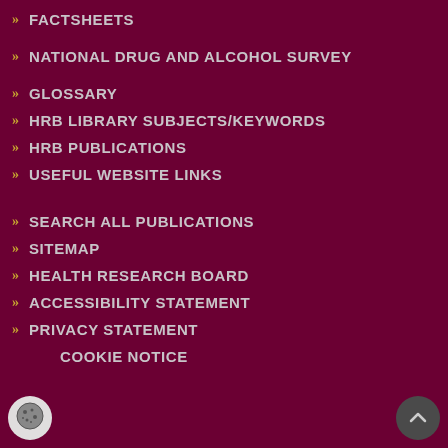FACTSHEETS
NATIONAL DRUG AND ALCOHOL SURVEY
GLOSSARY
HRB LIBRARY SUBJECTS/KEYWORDS
HRB PUBLICATIONS
USEFUL WEBSITE LINKS
SEARCH ALL PUBLICATIONS
SITEMAP
HEALTH RESEARCH BOARD
ACCESSIBILITY STATEMENT
PRIVACY STATEMENT
COOKIE NOTICE